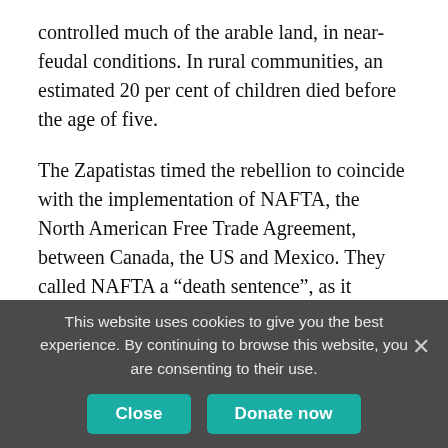controlled much of the arable land, in near-feudal conditions. In rural communities, an estimated 20 per cent of children died before the age of five.
The Zapatistas timed the rebellion to coincide with the implementation of NAFTA, the North American Free Trade Agreement, between Canada, the US and Mexico. They called NAFTA a “death sentence”, as it removed from the Mexican constitution Article 27, a provision won during the first Mexican revolution in the early part of the last century, designed to guarantee collective property rights to those who worked the land. Vocal opposition to NAFTA gained the rebels
This website uses cookies to give you the best experience. By continuing to browse this website, you are consenting to their use.